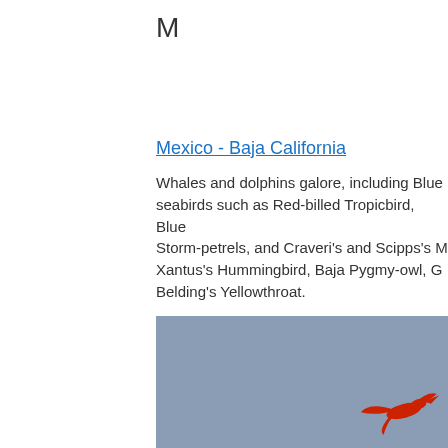M
Mexico - Baja California
Whales and dolphins galore, including Blue seabirds such as Red-billed Tropicbird, Blue Storm-petrels, and Craveri's and Scipps's M Xantus's Hummingbird, Baja Pygmy-owl, G Belding's Yellowthroat.
[Figure (photo): A bird (likely a red-billed tropicbird) flying against a blue-grey sky background. The bird appears as a red silhouette in the lower right portion of the image.]